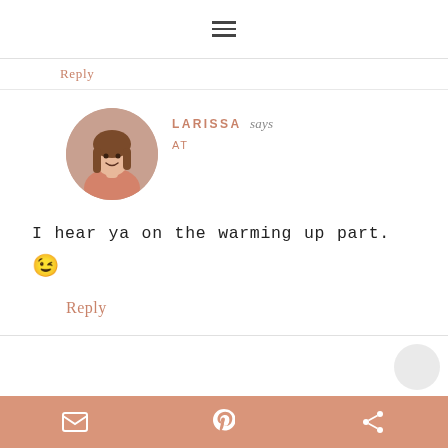≡ (hamburger menu icon)
Reply
[Figure (photo): Circular avatar photo of Larissa, a woman with long brown hair wearing a pink/salmon top, smiling, indoor background]
LARISSA says
AT
I hear ya on the warming up part. 😉
Reply
Share bar with email, Pinterest, and share icons